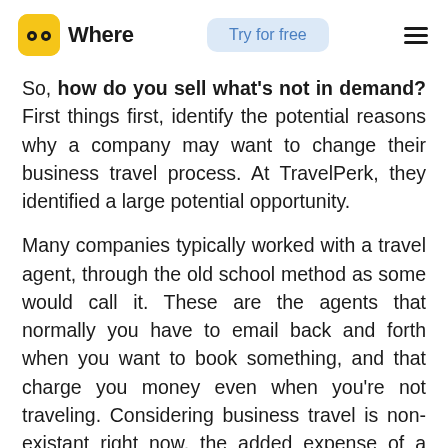Where | Try for free
So, how do you sell what's not in demand? First things first, identify the potential reasons why a company may want to change their business travel process. At TravelPerk, they identified a large potential opportunity.
Many companies typically worked with a travel agent, through the old school method as some would call it. These are the agents that normally you have to email back and forth when you want to book something, and that charge you money even when you're not traveling. Considering business travel is non-existant right now, the added expense of a travel agent, simply can't be justified. The companies that are stuck with a contract and are having to pay a monthly fee, whilst they aren't traveling, are the same ones coming through the door of